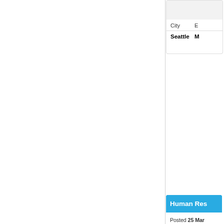| City | E |
| --- | --- |
| Seattle | M |
Human Res
Posted 25 Mar
Key knowledge
"Strategy, la
| City | E |
| --- | --- |
| Seattle | M |